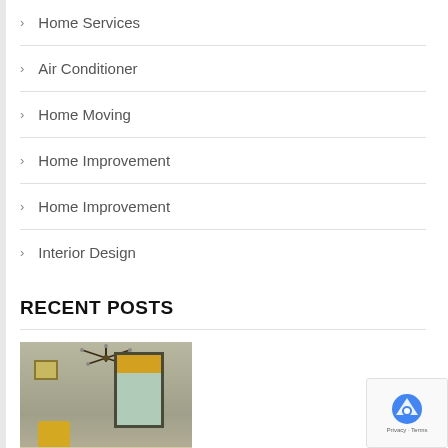Home Services
Air Conditioner
Home Moving
Home Improvement
Home Improvement
Interior Design
RECENT POSTS
[Figure (photo): Interior design photo showing a mid-century modern home office/living room with yellow accent chair, yellow roman shade window treatment, sputnik chandelier, and wooden furniture.]